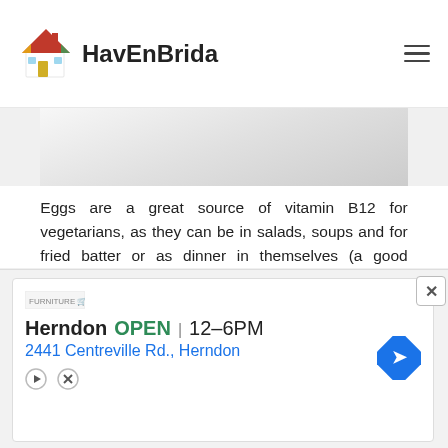HavEnBrida
[Figure (photo): Partially visible food/cooking photo at top of article]
Eggs are a great source of vitamin B12 for vegetarians, as they can be in salads, soups and for fried batter or as dinner in themselves (a good tortilla? Yes, please!). Also, they are super cheap!
Egg Recipes:
- Ten recipes with eggs
- Fried, scrambled or tortilla. How do you take the egg?
- Recipes with egg: tortillas and
[Figure (infographic): Advertisement banner: Furniture store - Herndon OPEN 12-6PM, 2441 Centreville Rd., Herndon]